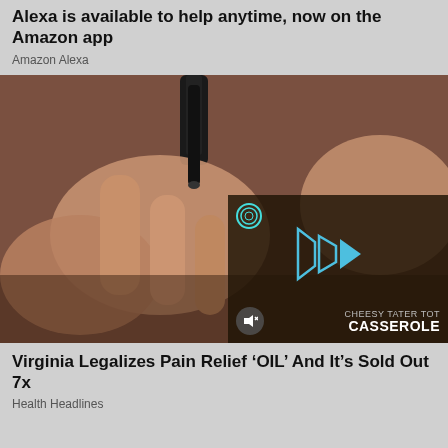Alexa is available to help anytime, now on the Amazon app
Amazon Alexa
[Figure (screenshot): Video player showing hands using a tool/pen, with an overlay video thumbnail of a casserole dish labeled 'Cheesy Tater Tot Casserole'. Play button icons visible in blue/cyan.]
Virginia Legalizes Pain Relief ‘OIL’ And It’s Sold Out 7x
Health Headlines